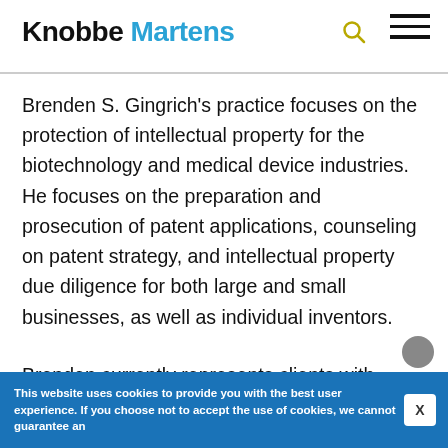Knobbe Martens
Brenden S. Gingrich's practice focuses on the protection of intellectual property for the biotechnology and medical device industries. He focuses on the preparation and prosecution of patent applications, counseling on patent strategy, and intellectual property due diligence for both large and small businesses, as well as individual inventors.
Brenden currently represents clients with
This website uses cookies to provide you with the best user experience. If you choose not to accept the use of cookies, we cannot guarantee an